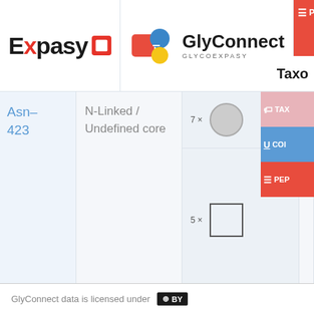[Figure (screenshot): GlyConnect web application interface showing Expasy and GlyConnect logos in the header, a data table row with Asn-423 glycan entry showing N-Linked/Undefined core linkage, Hex:7 HexNAc6 composition, glycan structure icons (circle and square), navigation buttons (Previous, Display), and GlyConnect Creative Commons license footer.]
GlyConnect data is licensed under CC BY